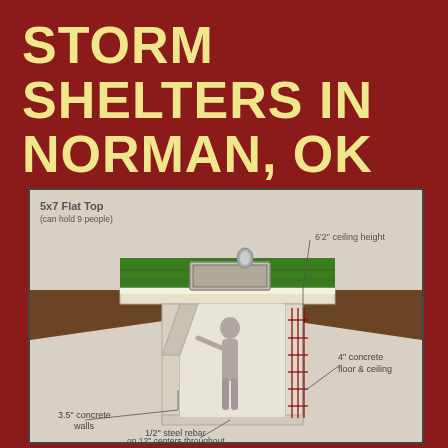STORM SHELTERS IN NORMAN, OK
[Figure (illustration): Cross-section illustration of a 5x7 Flat Top underground storm shelter showing a person standing inside. Labels indicate: '5x7 Flat Top (can hold 9 people)', '6'2" ceiling height', '4" concrete floor & ceiling', '3.5" concrete walls', '1/2" steel rebar on 12" centers throughout'. The shelter has green grass on top, a hatch door, soil cross-section visible, and reinforced concrete walls with rebar grid visible.]